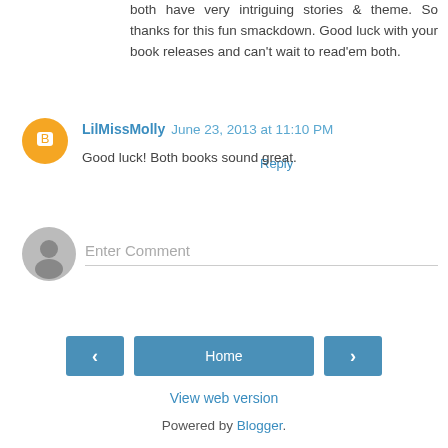both have very intriguing stories & theme. So thanks for this fun smackdown. Good luck with your book releases and can't wait to read'em both.
Reply
LilMissMolly  June 23, 2013 at 11:10 PM
Good luck! Both books sound great.
Reply
Enter Comment
Home
View web version
Powered by Blogger.